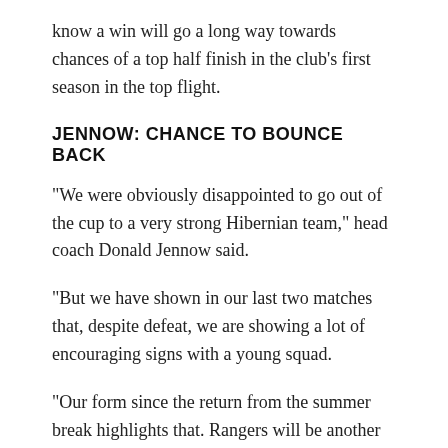know a win will go a long way towards chances of a top half finish in the club's first season in the top flight.
JENNOW: CHANCE TO BOUNCE BACK
“We were obviously disappointed to go out of the cup to a very strong Hibernian team,” head coach Donald Jennow said.
“But we have shown in our last two matches that, despite defeat, we are showing a lot of encouraging signs with a young squad.
“Our form since the return from the summer break highlights that. Rangers will be another tough opponent, but we must retain our positivity and believe we can get a result.”